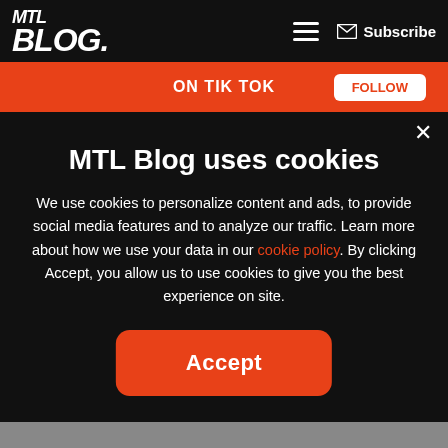MTL Blog — hamburger menu — Subscribe
[Figure (screenshot): Orange TikTok promotional banner with text ON TIK TOK]
MTL Blog uses cookies
We use cookies to personalize content and ads, to provide social media features and to analyze our traffic. Learn more about how we use your data in our cookie policy. By clicking Accept, you allow us to use cookies to give you the best experience on site.
Accept